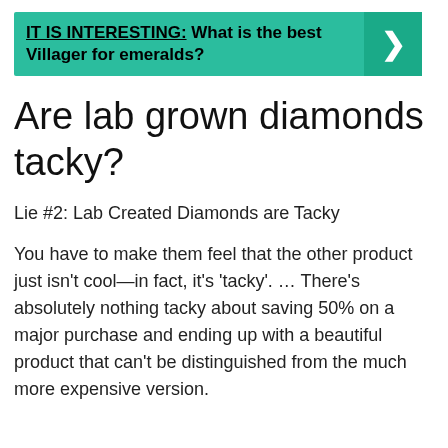[Figure (infographic): Teal banner with text 'IT IS INTERESTING: What is the best Villager for emeralds?' and a right-arrow chevron on the right side]
Are lab grown diamonds tacky?
Lie #2: Lab Created Diamonds are Tacky
You have to make them feel that the other product just isn't cool—in fact, it's 'tacky'. ... There's absolutely nothing tacky about saving 50% on a major purchase and ending up with a beautiful product that can't be distinguished from the much more expensive version.